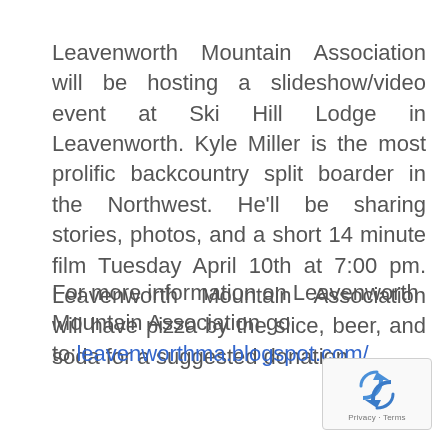Leavenworth Mountain Association will be hosting a slideshow/video event at Ski Hill Lodge in Leavenworth. Kyle Miller is the most prolific backcountry split boarder in the Northwest. He'll be sharing stories, photos, and a short 14 minute film Tuesday April 10th at 7:00 pm. Leavenworth Mountain Association will have pizza by the slice, beer, and soda for a suggested donation.
For more information on Leavenworth Mountain Association go to: leavenworthma.blogspot.com/
[Figure (logo): Google reCAPTCHA badge with Privacy and Terms text]